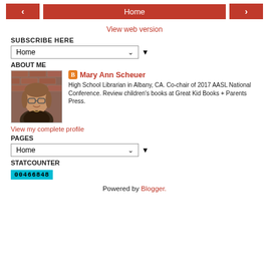< Home >
View web version
SUBSCRIBE HERE
Home ▼
ABOUT ME
[Figure (photo): Profile photo of Mary Ann Scheuer, a woman with glasses smiling, brick wall background]
Mary Ann Scheuer — High School Librarian in Albany, CA. Co-chair of 2017 AASL National Conference. Review children's books at Great Kid Books + Parents Press.
View my complete profile
PAGES
Home ▼
STATCOUNTER
00466848
Powered by Blogger.